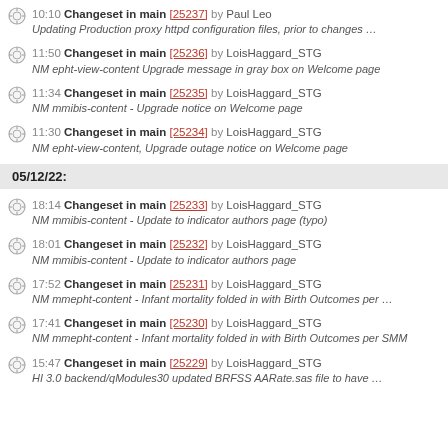10:10 Changeset in main [25237] by Paul Leo - Updating Production proxy httpd configuration files, prior to changes …
11:50 Changeset in main [25236] by LoisHaggard_STG - NM epht-view-content Upgrade message in gray box on Welcome page
11:34 Changeset in main [25235] by LoisHaggard_STG - NM mmibis-content - Upgrade notice on Welcome page
11:30 Changeset in main [25234] by LoisHaggard_STG - NM epht-view-content, Upgrade outage notice on Welcome page
05/12/22:
18:14 Changeset in main [25233] by LoisHaggard_STG - NM mmibis-content - Update to indicator authors page (typo)
18:01 Changeset in main [25232] by LoisHaggard_STG - NM mmibis-content - Update to indicator authors page
17:52 Changeset in main [25231] by LoisHaggard_STG - NM mmepht-content - Infant mortality folded in with Birth Outcomes per …
17:41 Changeset in main [25230] by LoisHaggard_STG - NM mmepht-content - Infant mortality folded in with Birth Outcomes per SMM
15:47 Changeset in main [25229] by LoisHaggard_STG - HI 3.0 backend/qModules30 updated BRFSS AARate.sas file to have …